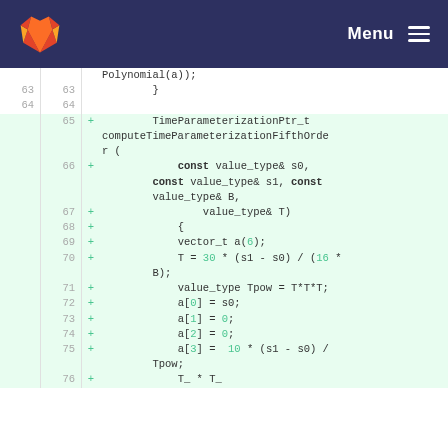GitLab — Menu
[Figure (screenshot): Code diff view showing C++ function computeTimeParameterizationFifthOrder with added lines 65-75]
63   63        }
64   64
65        +   TimeParameterizationPtr_t computeTimeParameterizationFifthOrder (
66        +       const value_type& s0, const value_type& s1, const value_type& B,
67        +           value_type& T)
68        +   {
69        +       vector_t a(6);
70        +       T = 30 * (s1 - s0) / (16 * B);
71        +       value_type Tpow = T*T*T;
72        +       a[0] = s0;
73        +       a[1] = 0;
74        +       a[2] = 0;
75        +       a[3] = 10 * (s1 - s0) / Tpow;